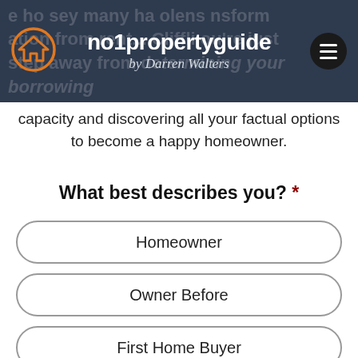no1propertyguide by Darren Walters
capacity and discovering all your factual options to become a happy homeowner.
What best describes you? *
Homeowner
Owner Before
First Home Buyer